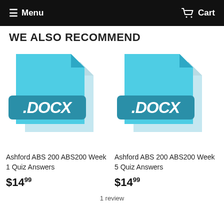Menu  Cart
WE ALSO RECOMMEND
[Figure (illustration): DOCX file icon — light blue document with folded corner and dark teal .DOCX label badge]
[Figure (illustration): DOCX file icon — light blue document with folded corner and dark teal .DOCX label badge]
Ashford ABS 200 ABS200 Week 1 Quiz Answers
Ashford ABS 200 ABS200 Week 5 Quiz Answers
$14.99
$14.99
1 review